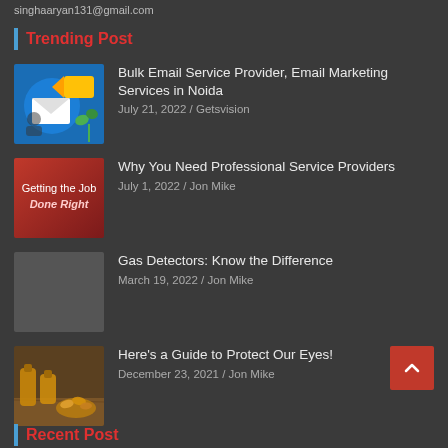singhaaryan131@gmail.com
Trending Post
Bulk Email Service Provider, Email Marketing Services in Noida | July 21, 2022 / Getsvision
Why You Need Professional Service Providers | July 1, 2022 / Jon Mike
Gas Detectors: Know the Difference | March 19, 2022 / Jon Mike
Here's a Guide to Protect Our Eyes! | December 23, 2021 / Jon Mike
Recent Post